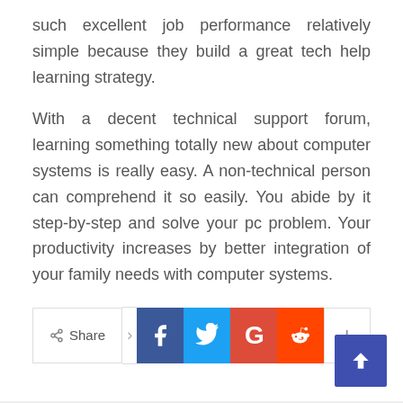such excellent job performance relatively simple because they build a great tech help learning strategy.

With a decent technical support forum, learning something totally new about computer systems is really easy. A non-technical person can comprehend it so easily. You abide by it step-by-step and solve your pc problem. Your productivity increases by better integration of your family needs with computer systems.
[Figure (other): Social share bar with Share button, Facebook, Twitter, Google+, Reddit, and more (+) buttons, plus a scroll-to-top arrow button]